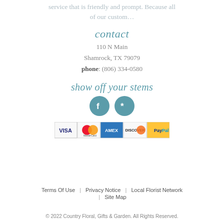service that is friendly and prompt. Because all of our custom...
contact
110 N Main
Shamrock, TX 79079
phone: (806) 334-0580
show off your stems
[Figure (logo): Facebook and Yelp social media icons (teal circles)]
[Figure (logo): Payment method logos: Visa, MasterCard, American Express, Discover, PayPal]
Terms Of Use | Privacy Notice | Local Florist Network | Site Map
© 2022 Country Floral, Gifts & Garden. All Rights Reserved.